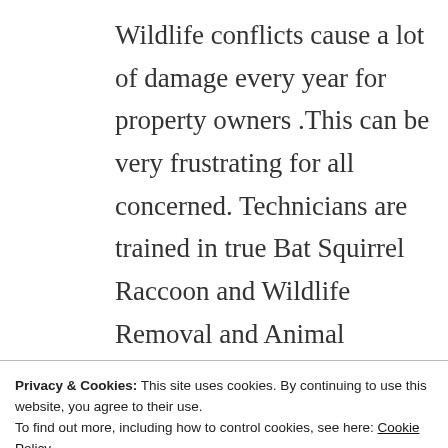Wildlife conflicts cause a lot of damage every year for property owners .This can be very frustrating for all concerned. Technicians are trained in true Bat Squirrel Raccoon and Wildlife Removal and Animal Control! Experience and the love of wildlife ensures complete and humane conclusions to all
Privacy & Cookies: This site uses cookies. By continuing to use this website, you agree to their use.
To find out more, including how to control cookies, see here: Cookie Policy
Close and accept